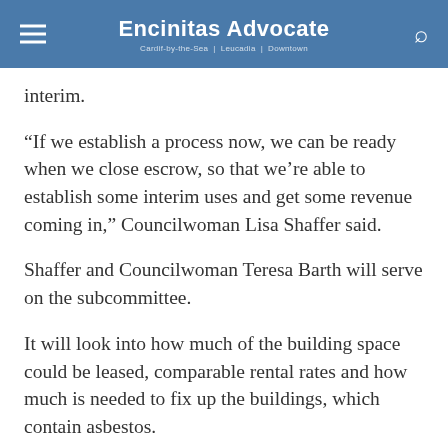Encinitas Advocate
interim.
“If we establish a process now, we can be ready when we close escrow, so that we’re able to establish some interim uses and get some revenue coming in,” Councilwoman Lisa Shaffer said.
Shaffer and Councilwoman Teresa Barth will serve on the subcommittee.
It will look into how much of the building space could be leased, comparable rental rates and how much is needed to fix up the buildings, which contain asbestos.